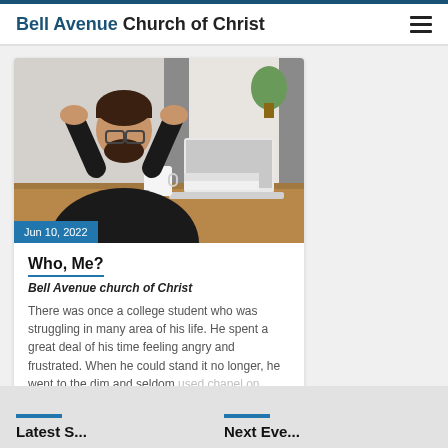Bell Avenue Church of Christ
[Figure (photo): Man in black shirt with glasses, hands on head, sitting at desk with laptop and coffee mug, looking stressed]
Jun 10, 2022
Who, Me?
Bell Avenue church of Christ
There was once a college student who was struggling in many area of his life. He spent a great deal of his time feeling angry and frustrated. When he could stand it no longer, he went to the dim and seldom used chapel on campus. He paced